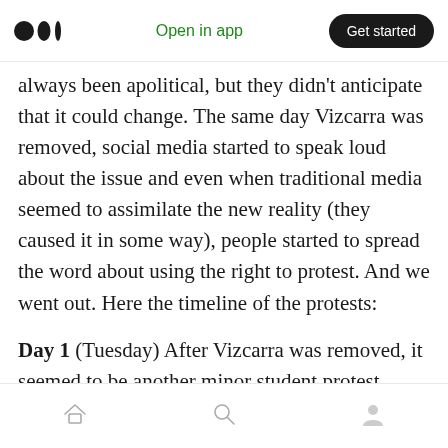Medium logo | Open in app | Get started
always been apolitical, but they didn't anticipate that it could change. The same day Vizcarra was removed, social media started to speak loud about the issue and even when traditional media seemed to assimilate the new reality (they caused it in some way), people started to spread the word about using the right to protest. And we went out. Here the timeline of the protests:
Day 1 (Tuesday) After Vizcarra was removed, it seemed to be another minor student protest happening near to congress as many we had in the past. But things were moving fast in the
Home | Search | Profile